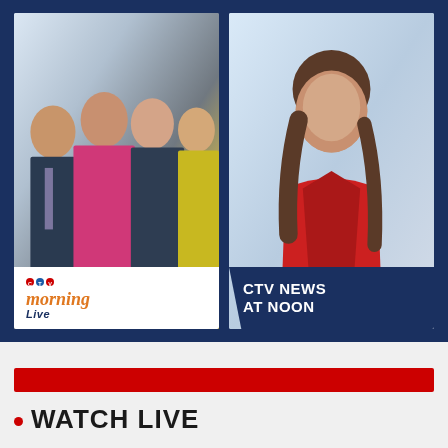[Figure (photo): Two promotional photos side by side on a dark navy blue background. Left photo shows four CTV Morning Live hosts posing together, with a white CTV Morning Live logo overlay in the bottom-left corner. Right photo shows a solo female anchor in a red dress, with a dark navy 'CTV NEWS AT NOON' text overlay in the bottom area.]
[Figure (other): Red horizontal bar banner]
WATCH LIVE